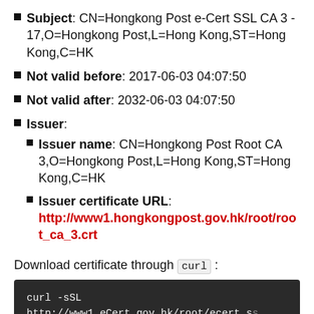Subject: CN=Hongkong Post e-Cert SSL CA 3 - 17,O=Hongkong Post,L=Hong Kong,ST=Hong Kong,C=HK
Not valid before: 2017-06-03 04:07:50
Not valid after: 2032-06-03 04:07:50
Issuer:
Issuer name: CN=Hongkong Post Root CA 3,O=Hongkong Post,L=Hong Kong,ST=Hong Kong,C=HK
Issuer certificate URL: http://www1.hongkongpost.gov.hk/root/root_ca_3.crt
Download certificate through curl :
[Figure (screenshot): Terminal/code block showing: curl -sSL http://www1.eCert.gov.hk/root/ecert_ss]